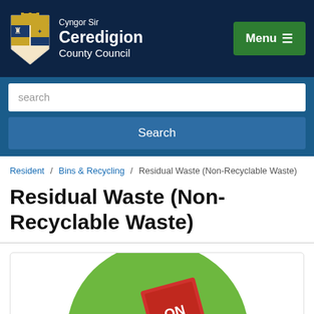[Figure (logo): Ceredigion County Council logo with Welsh coat of arms shield and council name in Welsh and English]
Menu ☰
search
Search
Resident / Bins & Recycling / Residual Waste (Non-Recyclable Waste)
Residual Waste (Non-Recyclable Waste)
[Figure (illustration): Green circular background with a red waste bin sticker/label partially visible at the bottom of the image]